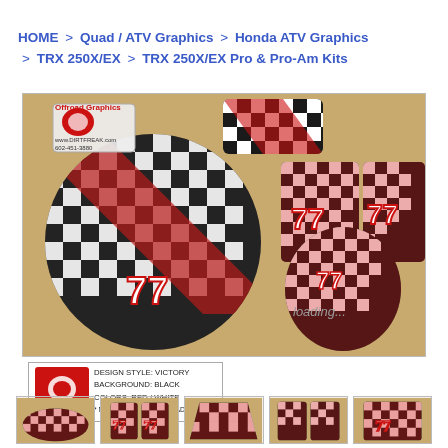HOME > Quad / ATV Graphics > Honda ATV Graphics > TRX 250X/EX > TRX 250X/EX Pro & Pro-Am Kits
[Figure (photo): Flat-lay of Honda TRX 250X/EX graphic kit pieces showing checkered Victory design in black, red, and white with number 77 and Tripled Racing branding. Multiple plastic panels spread out on cardboard.]
DESIGN STYLE: VICTORY
BACKGROUND: BLACK
COLORS: RED / WHITE
* NAME, NUMBER, TEAM ADDED
[Figure (photo): Thumbnail 1: front view of graphic kit]
[Figure (photo): Thumbnail 2: side panels view]
[Figure (photo): Thumbnail 3: front fender overhead view]
[Figure (photo): Thumbnail 4: side panels close-up]
[Figure (photo): Thumbnail 5: rear panel detail]